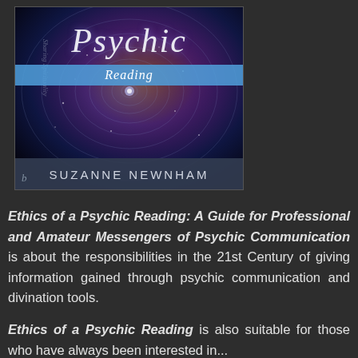[Figure (illustration): Book cover of 'Psychic Reading' by Suzanne Newnham. Dark cosmic swirling background in deep purples, reds and blues. Title 'Psychic' in large italic serif font at top, with 'Reading' on a blue band below. Author name 'SUZANNE NEWNHAM' in spaced caps on a dark footer band. Small 'b' logo at bottom left.]
Ethics of a Psychic Reading: A Guide for Professional and Amateur Messengers of Psychic Communication is about the responsibilities in the 21st Century of giving information gained through psychic communication and divination tools.
Ethics of a Psychic Reading is also suitable for those who have always been interested in...